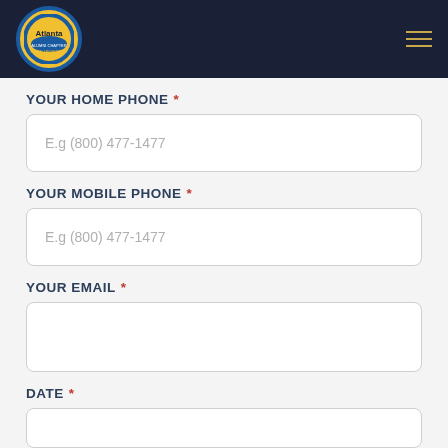Atlanta (logo header)
YOUR HOME PHONE *
E.g (800) 477-1477
YOUR MOBILE PHONE *
E.g (800) 477-1477
YOUR EMAIL *
DATE *